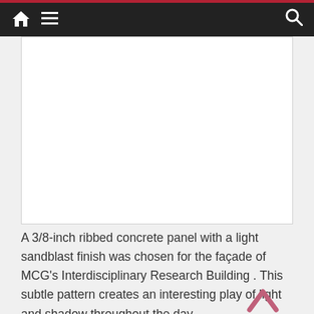Home | Menu | Search
[Figure (photo): Photograph of a 3/8-inch ribbed concrete panel with a light sandblast finish on the facade of MCG's Interdisciplinary Research Building — image area appears blank/white in this page crop]
A 3/8-inch ribbed concrete panel with a light sandblast finish was chosen for the façade of MCG's Interdisciplinary Research Building . This subtle pattern creates an interesting play of light and shadow throughout the day.